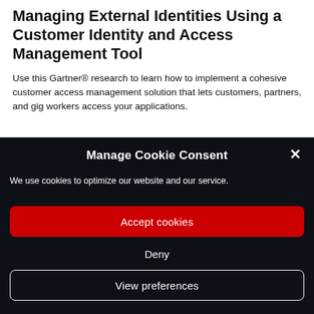Managing External Identities Using a Customer Identity and Access Management Tool
Use this Gartner® research to learn how to implement a cohesive customer access management solution that lets customers, partners, and gig workers access your applications.
Manage Cookie Consent
We use cookies to optimize our website and our service.
Accept cookies
Deny
View preferences